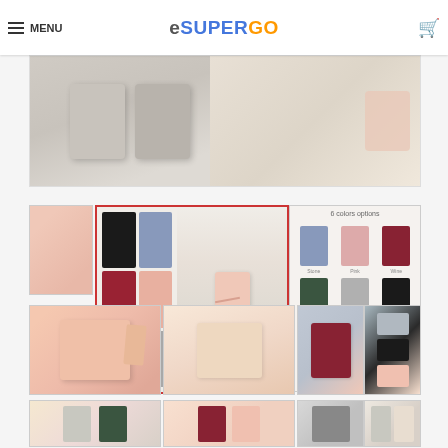MENU | eSUPERGO
[Figure (photo): Hero banner showing crossbody phone bags in beige/gray tones, with partial model view]
[Figure (photo): Thumbnail grid of phone bags in 6 colors: black, blue, red, pink, green, gray - with model wearing pink bag. This thumbnail is selected (red border).]
[Figure (photo): Color options chart showing 6 colors/options of phone bag]
[Figure (photo): Open phone bag showing interior compartments in pink]
[Figure (photo): Size/dimension diagram of phone bag]
[Figure (photo): Close-up of zipper and bag detail in pink]
[Figure (photo): Pink bag with strap and clasp detail]
[Figure (photo): Dark red/burgundy phone bag on light background]
[Figure (photo): Multiple bags in different colors (gray, black, pink) arranged together]
[Figure (photo): Two bags (gray and green) laid flat on peach background]
[Figure (photo): Two bags (burgundy and pink) laid flat on peach background]
[Figure (photo): Dark gray/charcoal phone bag on white/light surface]
[Figure (photo): Bags hanging on rack/display showing front and back views]